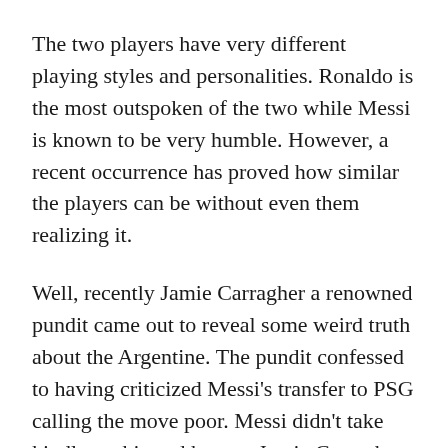The two players have very different playing styles and personalities. Ronaldo is the most outspoken of the two while Messi is known to be very humble. However, a recent occurrence has proved how similar the players can be without even them realizing it.
Well, recently Jamie Carragher a renowned pundit came out to reveal some weird truth about the Argentine. The pundit confessed to having criticized Messi's transfer to PSG calling the move poor. Messi didn't take kindly to this and he sent Jamie Carragher a DM on Instagram calling him a 'donkey'.
Ronaldo's case isn't far off from Messi's. An Instagram account that goes by Transfermarkt happened to analyze Ronaldo's transfer fee in comparison to players in the Portuguese age group. Christiano was not at all pleased bringing the relevant domain into play and